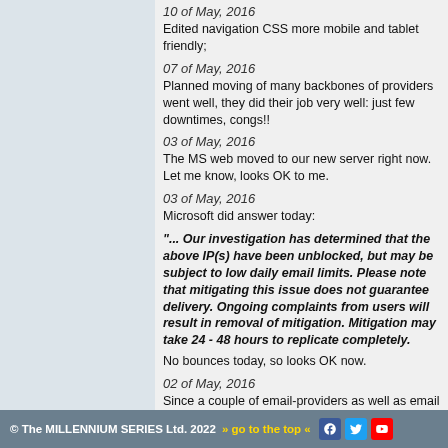10 of May, 2016
Edited navigation CSS more mobile and tablet friendly;
07 of May, 2016
Planned moving of many backbones of providers went well, they did their job very well: just few downtimes, congs!!
03 of May, 2016
The MS web moved to our new server right now. Let me know, looks OK to me.
03 of May, 2016
Microsoft did answer today:
"... Our investigation has determined that the above IP(s) have been unblocked, but may be subject to low daily email limits. Please note that mitigating this issue does not guarantee delivery. Ongoing complaints from users will result in removal of mitigation. Mitigation may take 24 - 48 hours to replicate completely."
No bounces today, so looks OK now.
02 of May, 2016
Since a couple of email-providers as well as email clients use mailservice, like Hotmail or others, we have massive problems caused by this Microsoft system. We're working on that issue, mails sent to any other mailservice that uses outlook.com for our EP's are blocked. Microsoft blocks them for a reason we don't understand, our DNS records are OK.
23 of April, 2016
© The MILLENNIUM SERIES Ltd. 2022  » go to the top «